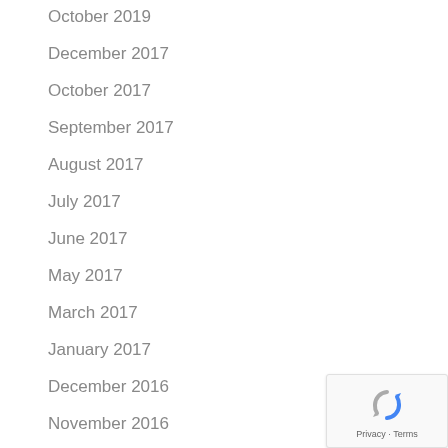October 2019
December 2017
October 2017
September 2017
August 2017
July 2017
June 2017
May 2017
March 2017
January 2017
December 2016
November 2016
October 2016
September 2016
[Figure (logo): reCAPTCHA badge with Privacy and Terms text]